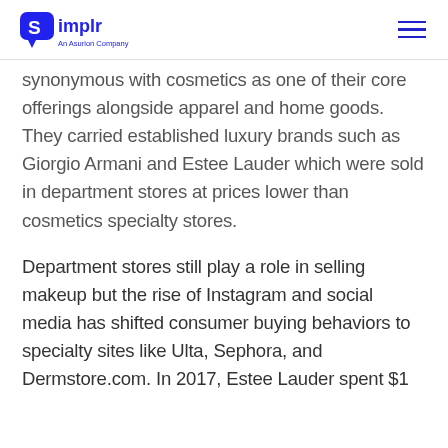Simplr — An Asurion Company
synonymous with cosmetics as one of their core offerings alongside apparel and home goods. They carried established luxury brands such as Giorgio Armani and Estee Lauder which were sold in department stores at prices lower than cosmetics specialty stores.
Department stores still play a role in selling makeup but the rise of Instagram and social media has shifted consumer buying behaviors to specialty sites like Ulta, Sephora, and Dermstore.com. In 2017, Estee Lauder spent $1 billion on the acquisition on its website to t...